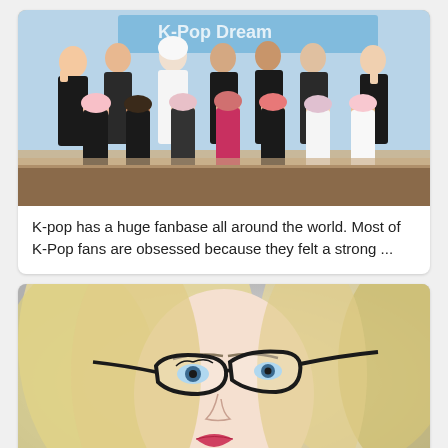[Figure (photo): Group photo of K-pop artists posing together on a stage, wearing mostly black outfits with colorful hair. Some are waving at the camera. There is partial text 'K-Pop Dream' visible on a banner behind them.]
K-pop has a huge fanbase all around the world. Most of K-Pop fans are obsessed because they felt a strong ...
[Figure (photo): Close-up photo of a woman with blonde hair wearing large black cat-eye glasses, with red lipstick, on a light gray/white background.]